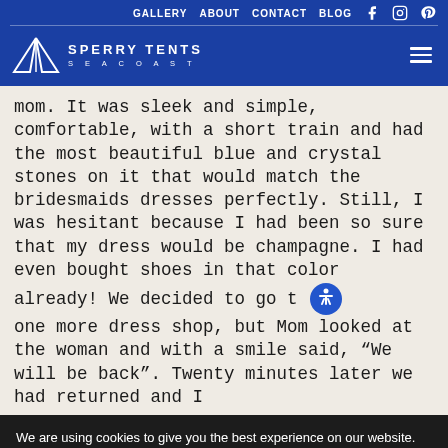GALLERY   ABOUT   CONTACT   BLOG
[Figure (logo): Sperry Tents Seacoast logo with tent icon and text]
mom. It was sleek and simple, comfortable, with a short train and had the most beautiful blue and crystal stones on it that would match the bridesmaids dresses perfectly. Still, I was hesitant because I had been so sure that my dress would be champagne. I had even bought shoes in that color already! We decided to go to one more dress shop, but Mom looked at the woman and with a smile said, “We will be back”. Twenty minutes later we had returned and I
We are using cookies to give you the best experience on our website.
You can find out more about which cookies we are using or switch them off in settings.
Accept